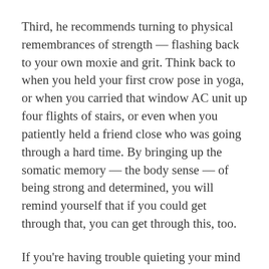Third, he recommends turning to physical remembrances of strength — flashing back to your own moxie and grit. Think back to when you held your first crow pose in yoga, or when you carried that window AC unit up four flights of stairs, or even when you patiently held a friend close who was going through a hard time. By bringing up the somatic memory — the body sense — of being strong and determined, you will remind yourself that if you could get through that, you can get through this, too.
If you're having trouble quieting your mind on your own, there are a ton of great ADAA-reviewed mental health resources that can help. Apps like Calm, Headspace, and Brain.fm offer relief in the form of guided meditations, sleep with mindful...